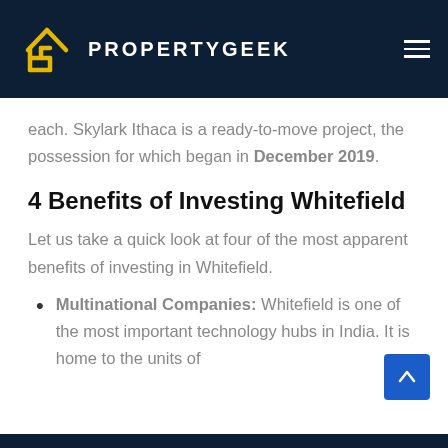PROPERTYGEEK
each. Skylark Ithaca is a ready-to-move project, the possession for which began in December 2019.
4 Benefits of Investing Whitefield
Let us take a quick look at four of the most apparent benefits of investing in Whitefield.
Multinational Companies: Whitefield is one of the most important technology hubs in India. It is home to the units of